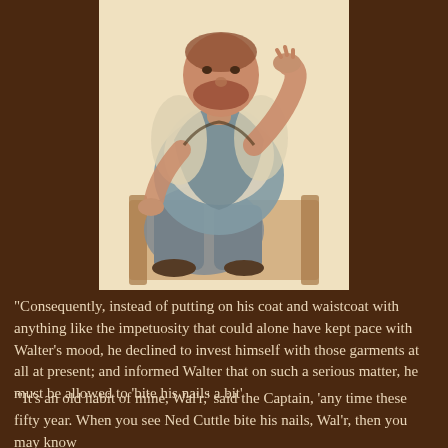[Figure (illustration): Watercolor or sketch illustration of a stout older man seated in a chair, wearing a blue-grey waistcoat over a white shirt, appearing to be biting or examining something in his hand, rendered in a loose painterly style with warm background tones.]
"Consequently, instead of putting on his coat and waistcoat with anything like the impetuosity that could alone have kept pace with Walter's mood, he declined to invest himself with those garments at all at present; and informed Walter that on such a serious matter, he must be allowed to 'bite his nails a bit'
"'It's an old habit of mine, Wal'r,' said the Captain, 'any time these fifty year. When you see Ned Cuttle bite his nails, Wal'r, then you may know